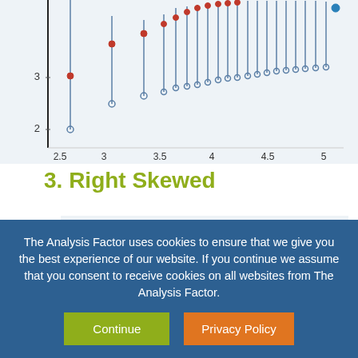[Figure (continuous-plot): Top portion of a scatter/dot plot with vertical lines (lollipop chart) showing confidence intervals. Y-axis shows values 2 and 3, x-axis ranges from 2.5 to 5. Red dot markers and blue circle markers visible. Dark vertical line at left edge. Background light blue-grey.]
3. Right Skewed
[Figure (continuous-plot): Bottom portion of a lollipop/scatter chart titled '100 observations per sample'. Y-axis shows values 5 and 6, x-axis not visible. Blue vertical lines with grey dot tops and one red dot visible at far right. Background light blue-grey.]
The Analysis Factor uses cookies to ensure that we give you the best experience of our website. If you continue we assume that you consent to receive cookies on all websites from The Analysis Factor.